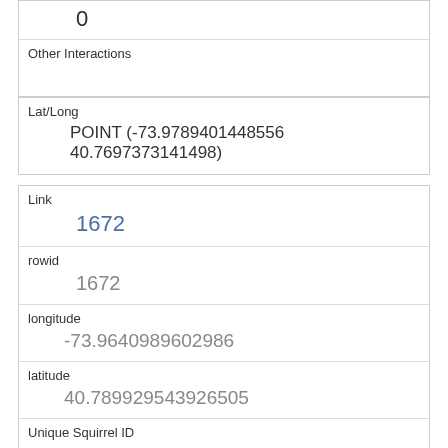|  | 0 |
| Other Interactions |  |
| Lat/Long | POINT (-73.9789401448556 40.7697373141498) |
| Link | 1672 |
| rowid | 1672 |
| longitude | -73.9640989602986 |
| latitude | 40.789929543926505 |
| Unique Squirrel ID | 29B-PM-1010-03 |
| Hectare | 29B |
| Shift | PM |